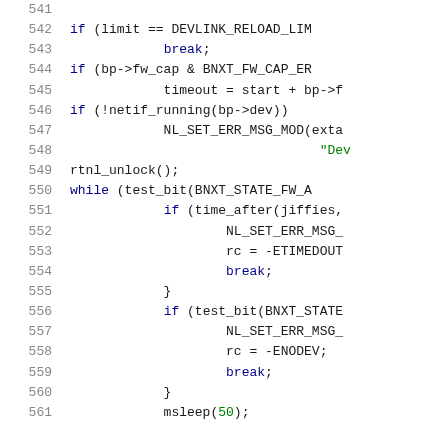Source code listing, lines 541-561, C kernel code with syntax highlighting